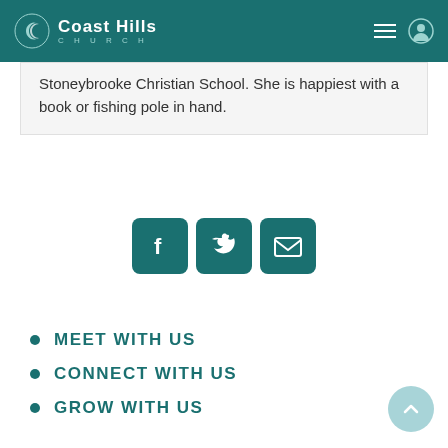Coast Hills Church
Stoneybrooke Christian School. She is happiest with a book or fishing pole in hand.
[Figure (infographic): Social media share icons: Facebook, Twitter, and Email, displayed as teal rounded square buttons]
MEET WITH US
CONNECT WITH US
GROW WITH US